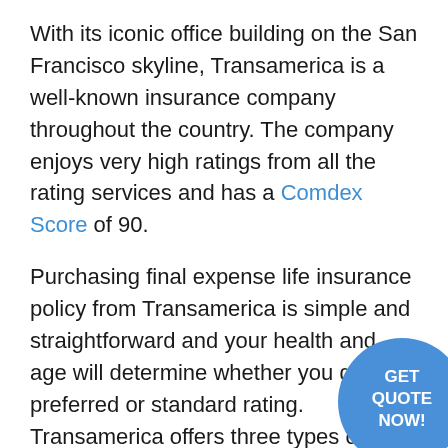With its iconic office building on the San Francisco skyline, Transamerica is a well-known insurance company throughout the country. The company enjoys very high ratings from all the rating services and has a Comdex Score of 90.
Purchasing final expense life insurance policy from Transamerica is simple and straightforward and your health and age will determine whether you get a preferred or standard rating. Transamerica offers three types of final expense products which can be used in combination with another life insurance policy, or it can be a stand-alone solution for seniors with preexisting medical conditions that make getting coverage difficult.
[Figure (other): Blue circular call-to-action button with white bold text reading GET QUOTE NOW!]